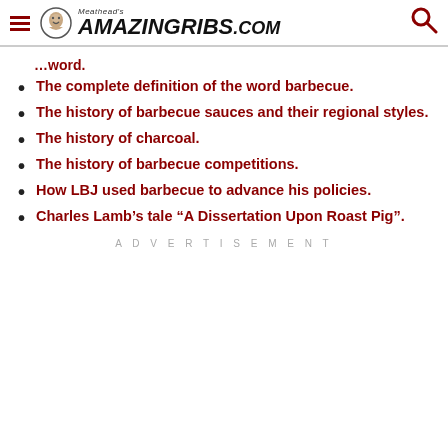Meathead's AmazingRibs.com
…word.
The complete definition of the word barbecue.
The history of barbecue sauces and their regional styles.
The history of charcoal.
The history of barbecue competitions.
How LBJ used barbecue to advance his policies.
Charles Lamb’s tale “A Dissertation Upon Roast Pig”.
ADVERTISEMENT